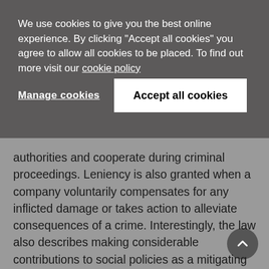We use cookies to give you the best online experience. By clicking "Accept all cookies" you agree to allow all cookies to be placed. To find out more visit our cookie policy
Manage cookies
Accept all cookies
authorities and cooperate during criminal proceedings. Leniency is also granted when a company voluntarily compensates for any inflicted damage or takes action to alleviate consequences of a crime. Interestingly, the law also describes making considerable contributions to social policies as a mitigating factor. While 'social policies' are undefined, companies should take note. A company may be exempt from punishment altogether after it repairs whatever damages the conduct